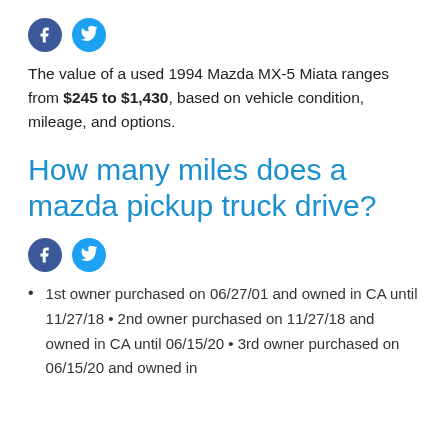[Figure (other): Social media icons: Facebook (dark blue circle with f) and Twitter (light blue circle with bird)]
The value of a used 1994 Mazda MX-5 Miata ranges from $245 to $1,430, based on vehicle condition, mileage, and options.
How many miles does a mazda pickup truck drive?
[Figure (other): Social media icons: Facebook (dark blue circle with f) and Twitter (light blue circle with bird)]
1st owner purchased on 06/27/01 and owned in CA until 11/27/18 • 2nd owner purchased on 11/27/18 and owned in CA until 06/15/20 • 3rd owner purchased on 06/15/20 and owned in